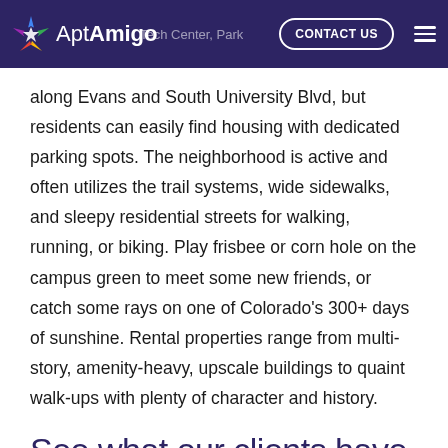AptAmigo | Tech Center, Park... | CONTACT US
along Evans and South University Blvd, but residents can easily find housing with dedicated parking spots. The neighborhood is active and often utilizes the trail systems, wide sidewalks, and sleepy residential streets for walking, running, or biking. Play frisbee or corn hole on the campus green to meet some new friends, or catch some rays on one of Colorado's 300+ days of sunshine. Rental properties range from multi-story, amenity-heavy, upscale buildings to quaint walk-ups with plenty of character and history.
See what our clients have to say